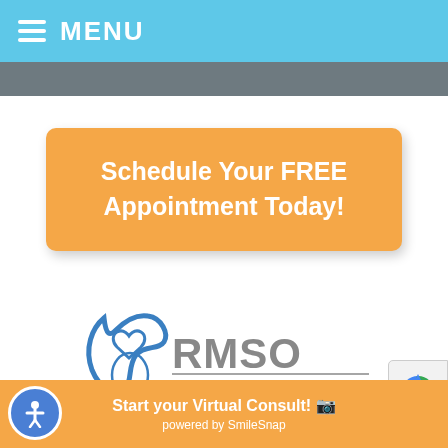MENU
Schedule Your FREE Appointment Today!
[Figure (logo): RMSO Rocky Mountain Society of Orthodontists logo — stylized tooth/heart shape in blue with RMSO letters and full name below]
Start your Virtual Consult! powered by SmileSnap